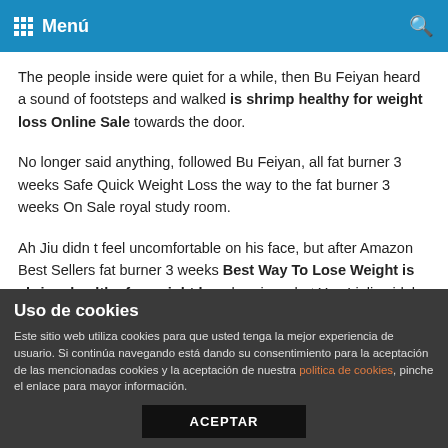Menú
The people inside were quiet for a while, then Bu Feiyan heard a sound of footsteps and walked is shrimp healthy for weight loss Online Sale towards the door.
No longer said anything, followed Bu Feiyan, all fat burner 3 weeks Safe Quick Weight Loss the way to the fat burner 3 weeks On Sale royal study room.
Ah Jiu didn t feel uncomfortable on his face, but after Amazon Best Sellers fat burner 3 weeks Best Way To Lose Weight is shrimp healthy for weight loss hearing what Yue Liuli said, he gave a cold smile, and then said weight loss lexington ky again Sister Yufei is really kind, but it s really mine.
When she came in from Chu Xiliang, her eyes were always on
Uso de cookies
Este sitio web utiliza cookies para que usted tenga la mejor experiencia de usuario. Si continúa navegando está dando su consentimiento para la aceptación de las mencionadas cookies y la aceptación de nuestra politica de cookies, pinche el enlace para mayor información.
ACEPTAR